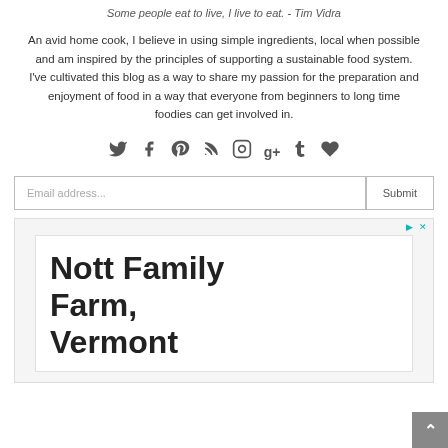Some people eat to live, I live to eat. - Tim Vidra
An avid home cook, I believe in using simple ingredients, local when possible and am inspired by the principles of supporting a sustainable food system. I've cultivated this blog as a way to share my passion for the preparation and enjoyment of food in a way that everyone from beginners to long time foodies can get involved in.
[Figure (infographic): Social media icons row: Twitter, Facebook, Pinterest, RSS, Instagram, Google+, Tumblr, Heart/Bloglovin]
Email address...    Submit
[Figure (screenshot): Advertisement box showing 'Nott Family Farm, Vermont' text on white background inside a light grey ad container]